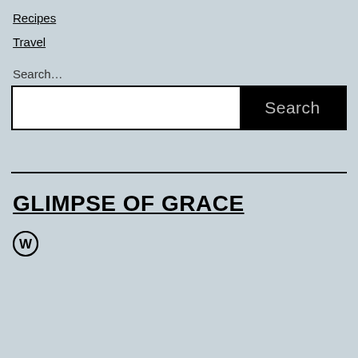Recipes
Travel
Search…
[Figure (other): Search input bar with white text field and black Search button]
GLIMPSE OF GRACE
[Figure (logo): WordPress logo icon (W in a circle)]